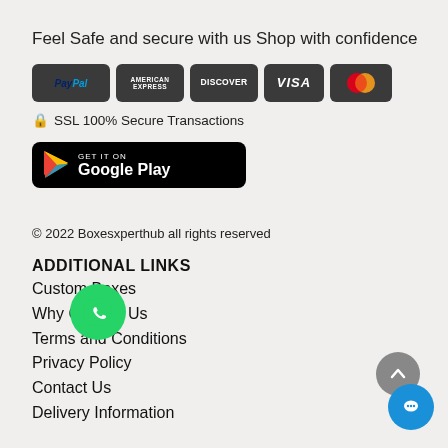Feel Safe and secure with us Shop with confidence
[Figure (infographic): Payment method icons: PayPal, American Express, Discover, Visa, Mastercard on dark rounded rectangle backgrounds]
🔒 SSL 100% Secure Transactions
[Figure (infographic): Get it on Google Play button with Google Play logo arrow on black rounded rectangle background]
© 2022 Boxesxperthub all rights reserved
ADDITIONAL LINKS
Custom Boxes
Why Choose Us
Terms and Conditions
Privacy Policy
Contact Us
Delivery Information